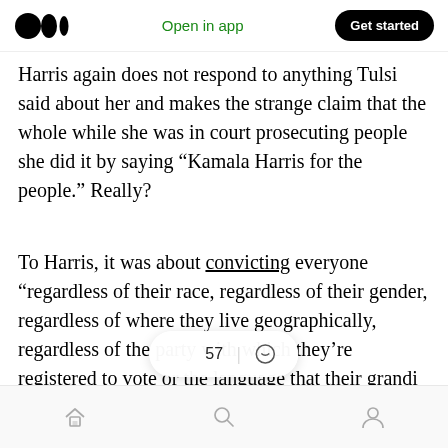Open in app | Get started
Harris again does not respond to anything Tulsi said about her and makes the strange claim that the whole while she was in court prosecuting people she did it by saying “Kamala Harris for the people.” Really?
To Harris, it was about convicting everyone “regardless of their race, regardless of their gender, regardless of where they live geographically, regardless of the party with which they’re registered to vote or the language that their grandi
57 claps | comment | home | search | profile